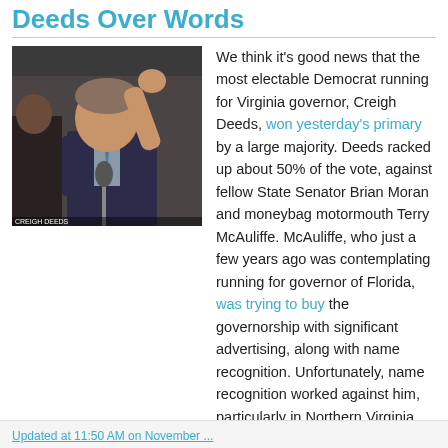Deeds Over Words
[Figure (photo): Man in suit raising his hand at a podium with microphone, another person visible in background]
We think it's good news that the most electable Democrat running for Virginia governor, Creigh Deeds, won yesterday's primary by a large majority. Deeds racked up about 50% of the vote, against fellow State Senator Brian Moran and moneybag motormouth Terry McAuliffe. McAuliffe, who just a few years ago was contemplating running for governor of Florida, was trying to buy the governorship with significant advertising, along with name recognition. Unfortunately, name recognition worked against him, particularly in Northern Virginia, where voters rejected him by double digits. Deeds won 10 of 12 Congressional districts in a display of statewide strength. He now faces Rethuglican weenie frat boy Bob McDonnell in November.
Updated at 11:50 AM on November ...